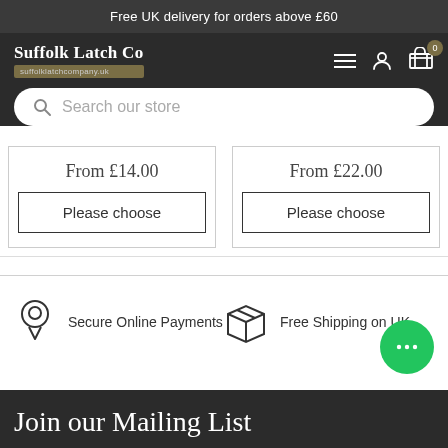Free UK delivery for orders above £60
[Figure (screenshot): Suffolk Latch Co logo with navigation icons (hamburger menu, user icon, cart with badge 0) on dark background, and search bar]
From £14.00
Please choose
From £22.00
Please choose
[Figure (illustration): Keyhole icon with text: Secure Online Payments]
[Figure (illustration): Box/package icon with text: Free Shipping on UK]
[Figure (illustration): Green chat bubble button with three dots]
Join our Mailing List